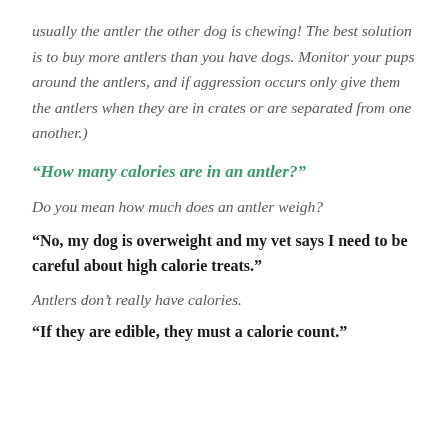usually the antler the other dog is chewing! The best solution is to buy more antlers than you have dogs. Monitor your pups around the antlers, and if aggression occurs only give them the antlers when they are in crates or are separated from one another.)
“How many calories are in an antler?”
Do you mean how much does an antler weigh?
“No, my dog is overweight and my vet says I need to be careful about high calorie treats.”
Antlers don’t really have calories.
“If they are edible, they must a calorie count.”